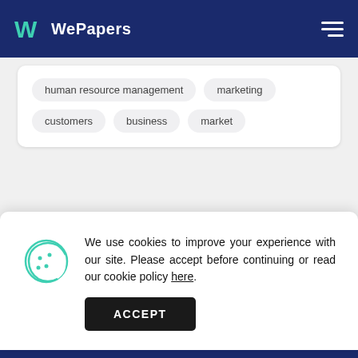WePapers
human resource management
marketing
customers
business
market
We use cookies to improve your experience with our site. Please accept before continuing or read our cookie policy here.
ACCEPT
We can help!
Only verified writers